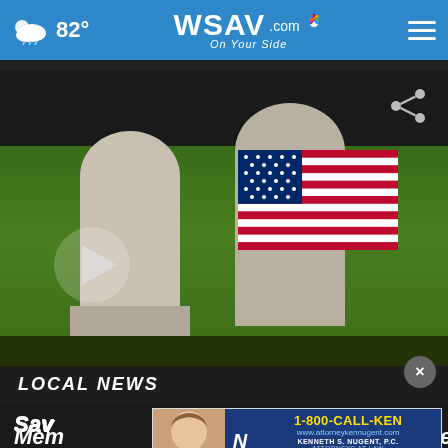WSAV.com On Your Side — 82°
[Figure (screenshot): Video thumbnail showing a military gravestone with an American flag on green grass, with a play button overlay and share icon]
LOCAL NEWS
Savannah Memorial Day, Say Remember
[Figure (advertisement): Kenneth S. Nugent, P.C. Attorneys at Law advertisement with phone number 1-800-CALL-KEN, website www.attorneykennugent.com, and Free Case Evaluation button]